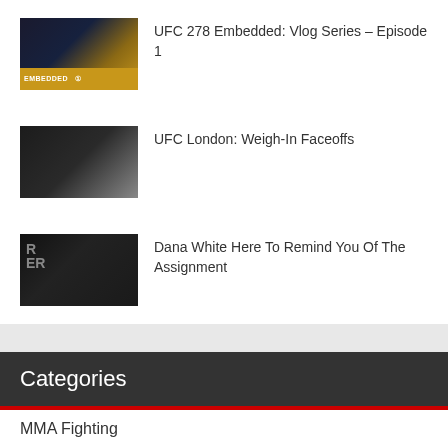UFC 278 Embedded: Vlog Series – Episode 1
UFC London: Weigh-In Faceoffs
Dana White Here To Remind You Of The Assignment
Categories
MMA Fighting
MMA Junkie